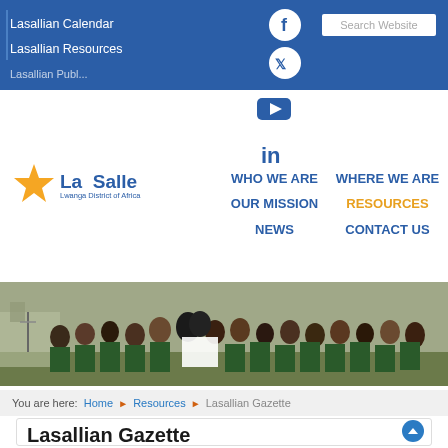Lasallian Calendar
Lasallian Resources
[Figure (screenshot): Website navigation bar with social media icons (Facebook, Twitter, YouTube, LinkedIn) and a Search Website box]
[Figure (logo): La Salle Lwanga District of Africa logo with orange star]
WHO WE ARE   WHERE WE ARE
OUR MISSION   RESOURCES
NEWS   CONTACT US
[Figure (photo): Group photo of schoolchildren and an adult in religious vestments outdoors on a school grounds]
You are here: Home › Resources › Lasallian Gazette
Lasallian Gazette